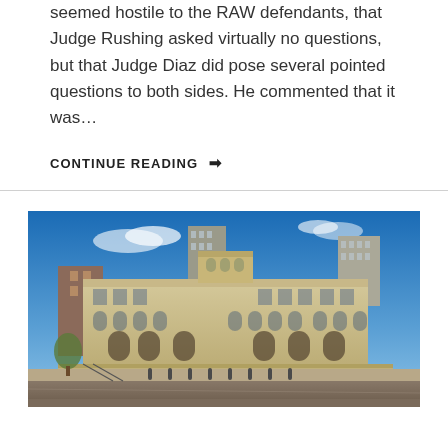seemed hostile to the RAW defendants, that Judge Rushing asked virtually no questions, but that Judge Diaz did pose several pointed questions to both sides.  He commented that it was…
CONTINUE READING →
[Figure (photo): Exterior photograph of a large neoclassical courthouse building with arched windows and stone facade, blue sky background, urban setting with other buildings visible.]